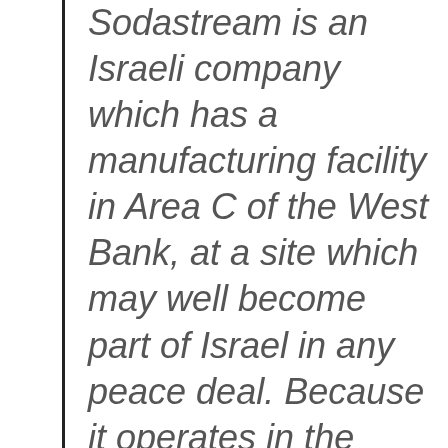Sodastream is an Israeli company which has a manufacturing facility in Area C of the West Bank, at a site which may well become part of Israel in any peace deal. Because it operates in the West Bank it is the subject of intensive boycott campaigning by anti-Israel protesters, including protests at its store in Brighton, here in the UK. The company employs hundreds of